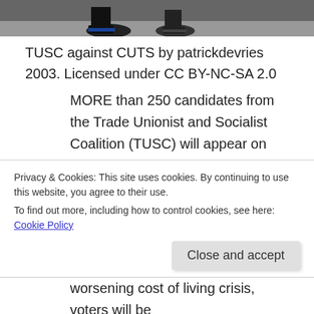[Figure (photo): Top portion of a photo showing feet/shoes on pavement, likely from a protest rally]
TUSC against CUTS by patrickdevries 2003. Licensed under CC BY-NC-SA 2.0
MORE than 250 candidates from the Trade Unionist and Socialist Coalition (TUSC) will appear on ballot papers around the country in three weeks time, and those disillusioned with the Labour Party may well be looking to the TUSC as one of the few alternatives to the main establishment parties who have let us all
Privacy & Cookies: This site uses cookies. By continuing to use this website, you agree to their use.
To find out more, including how to control cookies, see here: Cookie Policy
worsening cost of living crisis, voters will be